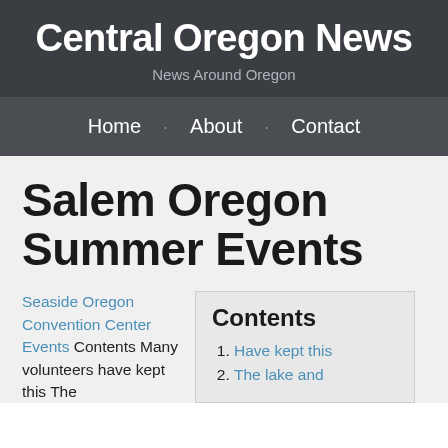Central Oregon News
News Around Oregon
Home · About · Contact
Salem Oregon Summer Events
Seaside Oregon Convention Center Events Contents Many volunteers have kept this The
Contents
1. Have kept this
2. The lake and